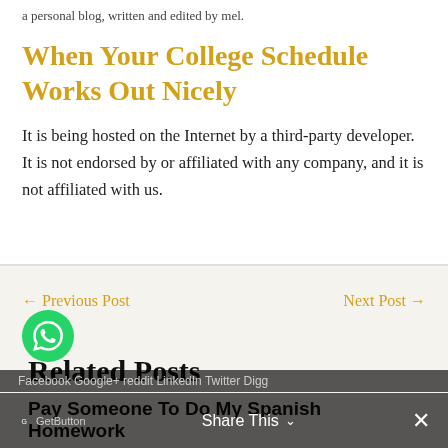a personal blog, written and edited by mel.
When Your College Schedule Works Out Nicely
It is being hosted on the Internet by a third-party developer. It is not endorsed by or affiliated with any company, and it is not affiliated with us.
← Previous Post
Next Post →
Related Posts
Pay Someone To Do My Spanish Homework
Facebook Google+ reddit LinkedIn Twitter Digg
Share This
GetButton  Share This  ✕